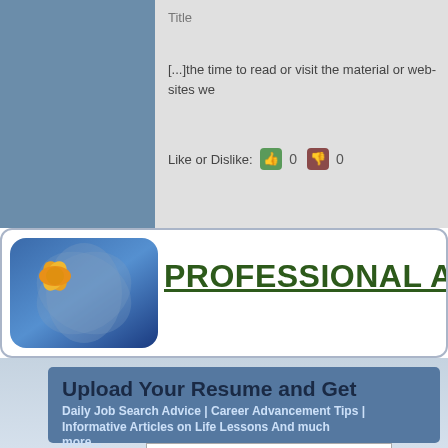Title
[...]the time to read or visit the material or web-sites we
Like or Dislike: 0 0
[Figure (logo): Professional advice website logo with blue gradient background and flower icon, showing PROFESSIONAL ADVI... text in dark green]
Upload Your Resume and Get
Daily Job Search Advice | Career Advancement Tips | Informative Articles on Life Lessons And much more...
Email Address
Upload Resume    Choose File   No file chosen